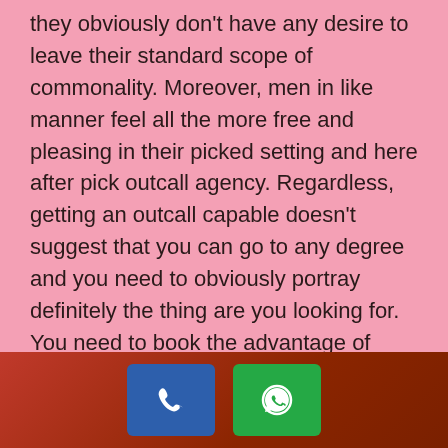they obviously don't have any desire to leave their standard scope of commonality. Moreover, men in like manner feel all the more free and pleasing in their picked setting and here after pick outcall agency. Regardless, getting an outcall capable doesn't suggest that you can go to any degree and you need to obviously portray definitely the thing are you looking for. You need to book the advantage of escort services in Hyatt Hotel Ahmedabad early and need to demonstrate the time-furthest arrives at that you wish to proceed with the female model. In case you like her association and wish to contribute some more energy with her, you need to pay hourly additional
[Figure (infographic): Dark red/maroon footer bar with two buttons: a blue phone call button and a green WhatsApp button, each showing white SVG icons.]